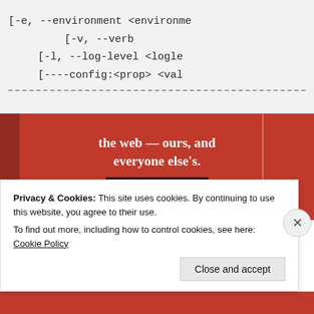[Figure (screenshot): Code block showing CLI argument options: [-e, --environment <environme..., [-v, --verb..., [-l, --log-level <logle..., [----config:<prop> <val..., followed by a dashed separator line]
[Figure (screenshot): Red promotional banner with white serif text reading 'the web — ours, and everyone else's.' and a dark 'Start reading' button]
Privacy & Cookies: This site uses cookies. By continuing to use this website, you agree to their use.
To find out more, including how to control cookies, see here: Cookie Policy